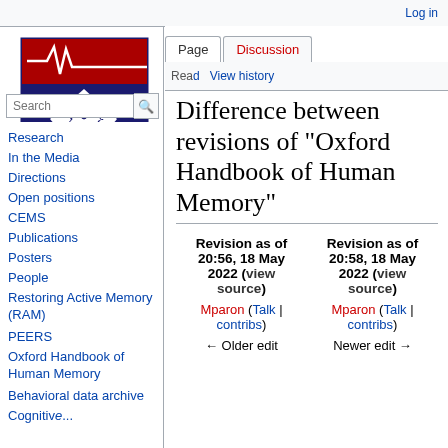Log in
[Figure (logo): Penn Memory Center / University of Pennsylvania shield logo with heartbeat line on red bar at top]
Page | Discussion | View history
Difference between revisions of "Oxford Handbook of Human Memory"
Research
In the Media
Directions
Open positions
CEMS
Publications
Posters
People
Restoring Active Memory (RAM)
PEERS
Oxford Handbook of Human Memory
Behavioral data archive
Cognitive...
| Revision as of 20:56, 18 May 2022 (view source) | Revision as of 20:58, 18 May 2022 (view source) |
| --- | --- |
| Mparon (Talk | contribs) | Mparon (Talk | contribs) |
| ← Older edit | Newer edit → |